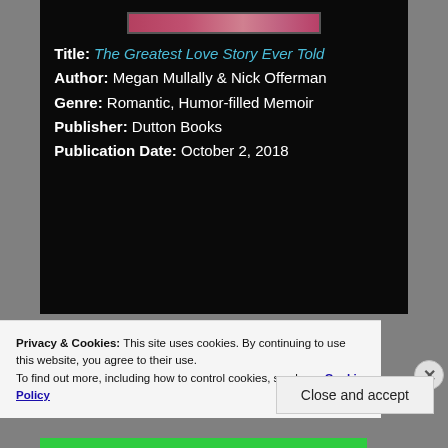[Figure (photo): Book cover image for The Greatest Love Story Ever Told, partially visible at top]
Title: The Greatest Love Story Ever Told
Author: Megan Mullally & Nick Offerman
Genre: Romantic, Humor-filled Memoir
Publisher: Dutton Books
Publication Date: October 2, 2018
Privacy & Cookies: This site uses cookies. By continuing to use this website, you agree to their use.
To find out more, including how to control cookies, see here: Cookie Policy
Close and accept